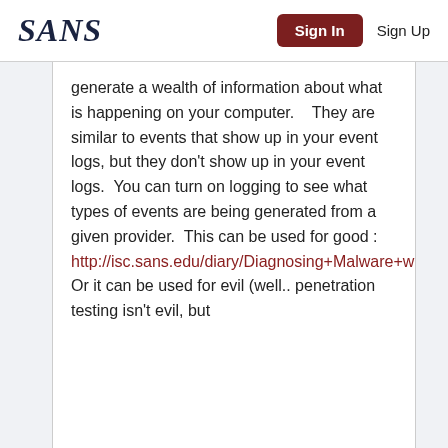SANS | Sign In | Sign Up
generate a wealth of information about what is happening on your computer.    They are similar to events that show up in your event logs, but they don’t show up in your event logs.   You can turn on logging to see what types of events are being generated from a given provider.   This can be used for good : http://isc.sans.edu/diary/Diagnosing+Malware+with+Resource+Monitor/13735
Or it can be used for evil (well.. penetration testing isn’t evil, but